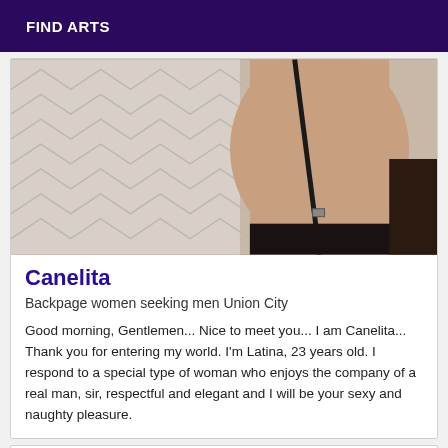FIND ARTS
[Figure (photo): Partial view of a person wearing black lingerie straps against a light background]
Canelita
Backpage women seeking men Union City
Good morning, Gentlemen... Nice to meet you... I am Canelita... Thank you for entering my world. I'm Latina, 23 years old. I respond to a special type of woman who enjoys the company of a real man, sir, respectful and elegant and I will be your sexy and naughty pleasure.